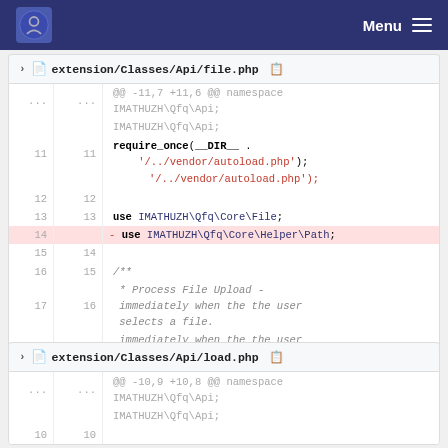Menu
extension/Classes/Api/file.php
[Figure (screenshot): Git diff view of extension/Classes/Api/file.php showing removal of 'use IMATHUZH\Qfq\Core\Helper\Path;' line. Context includes require_once(__DIR__ . '/../../vendor/autoload.php'); and use IMATHUZH\Qfq\Core\File; lines, plus a comment block about Process File Upload.]
extension/Classes/Api/load.php
[Figure (screenshot): Git diff view of extension/Classes/Api/load.php showing hunk header @@ -10,9 +10,8 @@ namespace IMATHUZH\Qfq\Api; with line numbers 10 visible.]